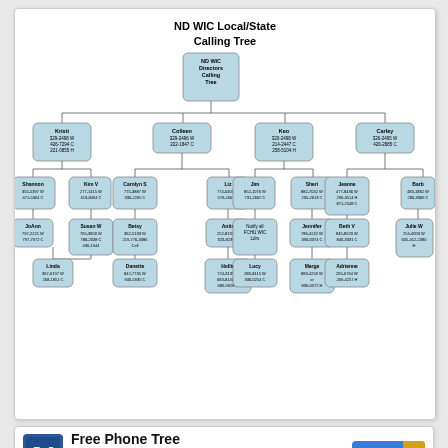ND WIC Local/State Calling Tree
[Figure (organizational-chart): ND WIC Local/State Calling Tree organizational chart showing hierarchy: ND WIC Directors Calling Tree at top, then Kristi (329-2498 W, 426-7294 C, 221-0855 H), Colleen (329-2496 W, 222-1847 C), Keo (320-2498 W, 214-2447 C, 258-5104 H), Carley (326-2495 W, 426-2885 C) at second level. Further branches show Shannon, Kim V, Carolyn S, Liz, Jim, Sheri, Jeanne, Barb at third level. Fourth level includes JoAnn, Susan W, Betsy, Anita, Notify all FCHU WIC Ldrs, Jennifer, Beth V, Julie W. Fifth level includes Linda, Danette, Hollie, Lucy, Marge, Adrienne.]
Free Phone Tree Templates 28
1 file(s)   162.00 KB